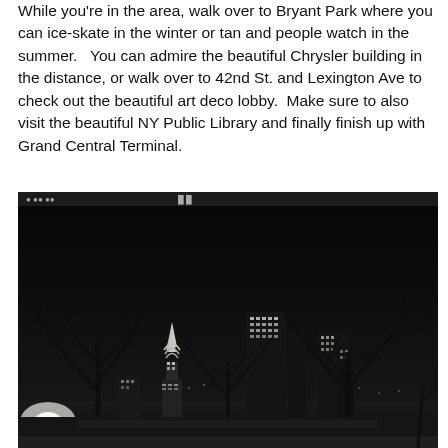While you're in the area, walk over to Bryant Park where you can ice-skate in the winter or tan and people watch in the summer.   You can admire the beautiful Chrysler building in the distance, or walk over to 42nd St. and Lexington Ave to check out the beautiful art deco lobby.  Make sure to also visit the beautiful NY Public Library and finally finish up with Grand Central Terminal.
[Figure (photo): Black and white nighttime photograph of Bryant Park in New York City, showing bare winter trees in the foreground and illuminated skyscrapers including the Chrysler Building in the background. The scene is dark with city lights visible through the tree branches.]